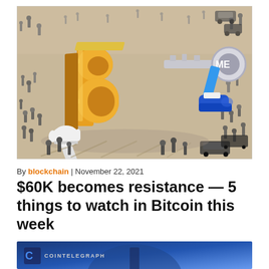[Figure (illustration): Illustrated scene showing a large golden Bitcoin logo being toppled or restrained by cartoon-style white-gloved hands and a giant key, surrounded by crowds of people on a beige/grey ground. The image has a comic-book style and depicts the Bitcoin symbol in 3D gold lettering being pushed down.]
By blockchain | November 22, 2021
$60K becomes resistance — 5 things to watch in Bitcoin this week
[Figure (screenshot): A dark blue-toned video thumbnail or screenshot showing a person in a suit with the Cointelegraph logo and text 'COINTELEGRAPH' visible in the upper left corner against a blue gradient background.]